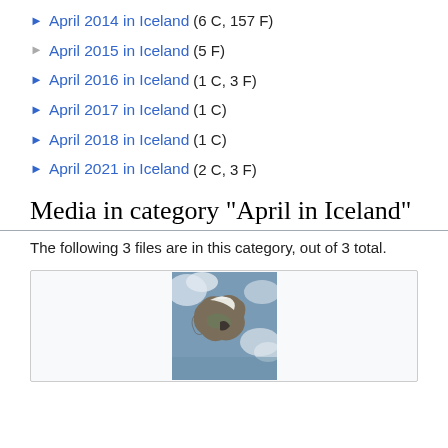► April 2014 in Iceland (6 C, 157 F)
► April 2015 in Iceland (5 F)
► April 2016 in Iceland (1 C, 3 F)
► April 2017 in Iceland (1 C)
► April 2018 in Iceland (1 C)
► April 2021 in Iceland (2 C, 3 F)
Media in category "April in Iceland"
The following 3 files are in this category, out of 3 total.
[Figure (photo): Satellite image of Iceland showing snow-covered landmass with clouds, aerial/space view]